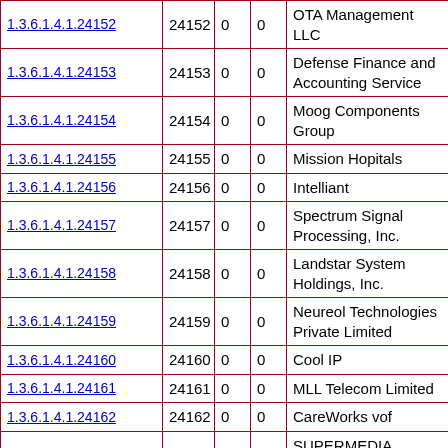| OID | Number | Col3 | Col4 | Organization |
| --- | --- | --- | --- | --- |
| 1.3.6.1.4.1.24152 | 24152 | 0 | 0 | OTA Management LLC |
| 1.3.6.1.4.1.24153 | 24153 | 0 | 0 | Defense Finance and Accounting Service |
| 1.3.6.1.4.1.24154 | 24154 | 0 | 0 | Moog Components Group |
| 1.3.6.1.4.1.24155 | 24155 | 0 | 0 | Mission Hopitals |
| 1.3.6.1.4.1.24156 | 24156 | 0 | 0 | Intelliant |
| 1.3.6.1.4.1.24157 | 24157 | 0 | 0 | Spectrum Signal Processing, Inc. |
| 1.3.6.1.4.1.24158 | 24158 | 0 | 0 | Landstar System Holdings, Inc. |
| 1.3.6.1.4.1.24159 | 24159 | 0 | 0 | Neureol Technologies Private Limited |
| 1.3.6.1.4.1.24160 | 24160 | 0 | 0 | Cool IP |
| 1.3.6.1.4.1.24161 | 24161 | 0 | 0 | MLL Telecom Limited |
| 1.3.6.1.4.1.24162 | 24162 | 0 | 0 | CareWorks vof |
| 1.3.6.1.4.1.24163 | 24163 | 0 | 0 | SUPERMEDIA Internet Provider |